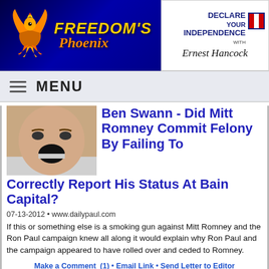[Figure (logo): Freedom's Phoenix logo with golden phoenix bird on dark blue background]
[Figure (logo): Declare Your Independence with Ernest Hancock logo]
MENU
Ben Swann - Did Mitt Romney Commit Felony By Failing To Correctly Report His Status At Bain Capital?
07-13-2012 • www.dailypaul.com
If this or something else is a smoking gun against Mitt Romney and the Ron Paul campaign knew all along it would explain why Ron Paul and the campaign appeared to have rolled over and ceded to Romney.
Make a Comment  (1)  •  Email Link  •  Send Letter to Editor